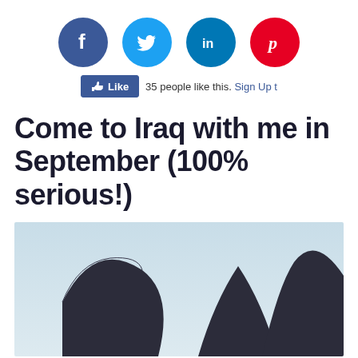[Figure (infographic): Row of four social media icons: Facebook (blue circle with f), Twitter (light blue circle with bird), LinkedIn (dark blue circle with in), Pinterest (red circle with P logo)]
[Figure (screenshot): Facebook Like button showing '35 people like this. Sign Up t']
Come to Iraq with me in September (100% serious!)
[Figure (photo): Photo of dark architectural arches or dome structures against a light blue sky background]
×